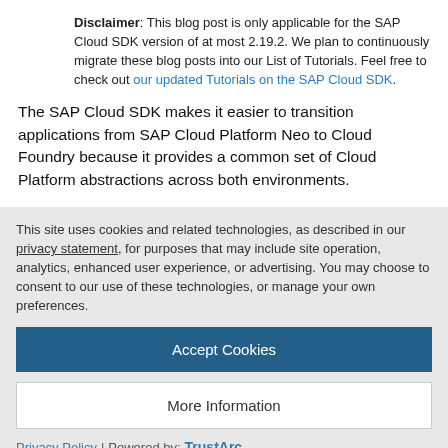Disclaimer: This blog post is only applicable for the SAP Cloud SDK version of at most 2.19.2. We plan to continuously migrate these blog posts into our List of Tutorials. Feel free to check out our updated Tutorials on the SAP Cloud SDK.
The SAP Cloud SDK makes it easier to transition applications from SAP Cloud Platform Neo to Cloud Foundry because it provides a common set of Cloud Platform abstractions across both environments.
This site uses cookies and related technologies, as described in our privacy statement, for purposes that may include site operation, analytics, enhanced user experience, or advertising. You may choose to consent to our use of these technologies, or manage your own preferences.
Accept Cookies
More Information
Privacy Policy | Powered by: TrustArc